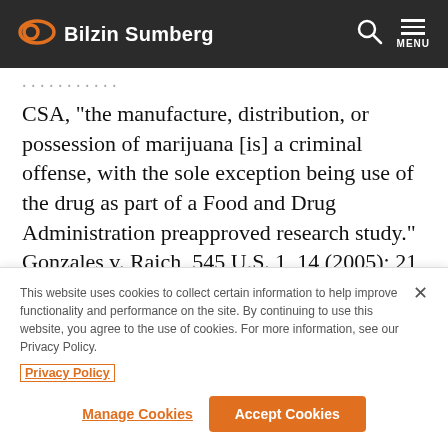Bilzin Sumberg
CSA, “the manufacture, distribution, or possession of marijuana [is] a criminal offense, with the sole exception being use of the drug as part of a Food and Drug Administration preapproved research study.” Gonzales v. Raich, 545 U.S. 1, 14 (2005); 21
This website uses cookies to collect certain information to help improve functionality and performance on the site. By continuing to use this website, you agree to the use of cookies. For more information, see our Privacy Policy.
Privacy Policy
Manage Cookies
Accept Cookies